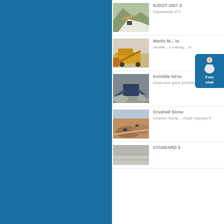[Figure (photo): Quarry/stone processing site with large white aggregate pile and conveyor belt, mountain backdrop]
NJDOT 2007 S
Department of Tr...
[Figure (photo): Yellow mobile crushing/screening plant machinery in dusty field]
Martin M... to...
Modifie... s... making... fo...
[Figure (photo): Mobile jaw crusher in operation with gravel dust spray]
Invisible Struc...
Grass and grave... portfolio, technic...
[Figure (photo): Aerial view of large quarry/mining site with reddish earth and equipment]
Crushed Stone...
Crushed Stone,... Road Highway R...
[Figure (photo): Concrete or paved surface, partial view]
STANDARD S...